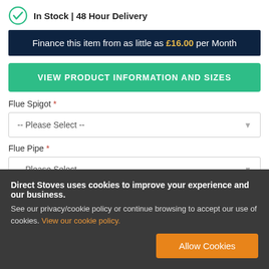In Stock | 48 Hour Delivery
Finance this item from as little as £16.00 per Month
VIEW PRODUCT INFORMATION AND SIZES
Flue Spigot *
-- Please Select --
Flue Pipe *
-- Please Select --
Direct Stoves uses cookies to improve your experience and our business. See our privacy/cookie policy or continue browsing to accept our use of cookies. View our cookie policy.
Allow Cookies